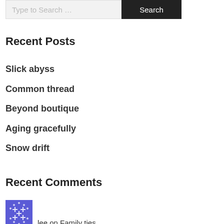Recent Posts
Slick abyss
Common thread
Beyond boutique
Aging gracefully
Snow drift
Recent Comments
lee on Family ties